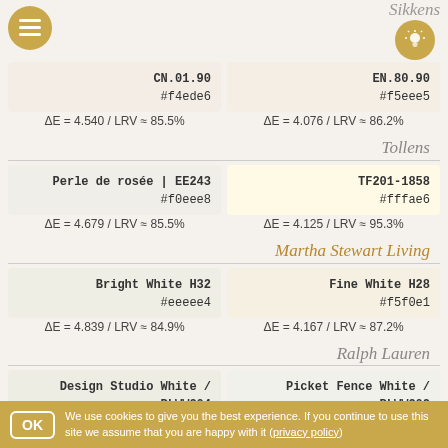[Figure (logo): Sikkens brand logo with lightbulb icon]
| CN.01.90 / #f4ede6 | EN.80.90 / #f5eee5 |
| --- | --- |
| ΔE = 4.540 / LRV ≈ 85.5% | ΔE = 4.076 / LRV ≈ 86.2% |
Tollens
| Perle de rosée | EE243 / #f0eee8 | TF201-1858 / #fffae6 |
| --- | --- |
| ΔE = 4.679 / LRV ≈ 85.5% | ΔE = 4.125 / LRV ≈ 95.3% |
Martha Stewart Living
| Bright White H32 / #eeeee4 | Fine White H28 / #f5f0e1 |
| --- | --- |
| ΔE = 4.839 / LRV ≈ 84.9% | ΔE = 4.167 / LRV ≈ 87.2% |
Ralph Lauren
| Design Studio White / RLWW204 / #edede4 | Picket Fence White / RLWW202 / #f0f1ea |
| --- | --- |
We use cookies to give you the best experience. If you continue to use this site we assume that you are happy with it (privacy policy)